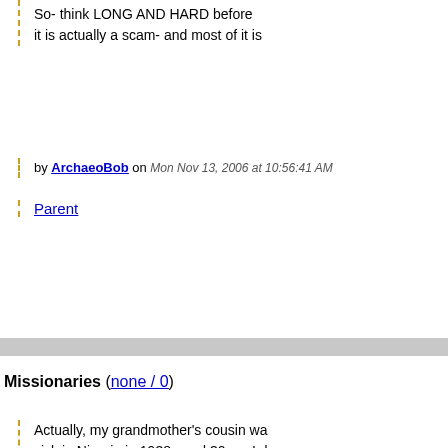So- think LONG AND HARD before it is actually a scam- and most of it is
by ArchaeoBob on Mon Nov 13, 2006 at 10:56:41 AM
Parent
Missionaries (none / 0)
Actually, my grandmother's cousin was sick in Nigeria in 1938 aged 30, so I d such. I also believe that missionaries s of free speech and free expression.
However, I also think that some missi their own power-relations with the pe
by Richard Bartholomew on Mon Nov 12, 2006 at
Parent